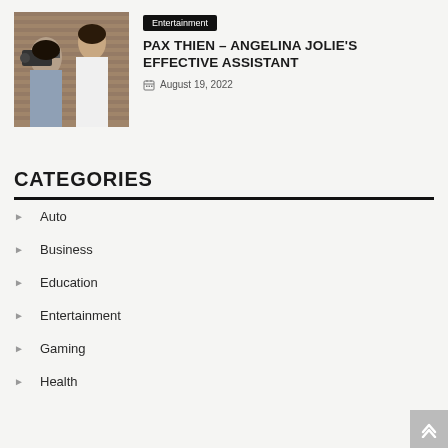[Figure (photo): Two people outdoors, one holding a camera filming the other who is wearing white and touching her face]
Entertainment
PAX THIEN – ANGELINA JOLIE'S EFFECTIVE ASSISTANT
August 19, 2022
CATEGORIES
Auto
Business
Education
Entertainment
Gaming
Health